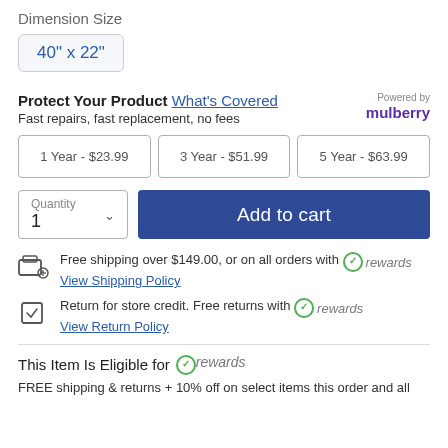Dimension Size
40" x 22"
Protect Your Product What's Covered
Fast repairs, fast replacement, no fees
1 Year - $23.99
3 Year - $51.99
5 Year - $63.99
Quantity 1 | Add to cart
Free shipping over $149.00, or on all orders with rewards
View Shipping Policy
Return for store credit. Free returns with rewards
View Return Policy
This Item Is Eligible for rewards
FREE shipping & returns + 10% off on select items this order and all